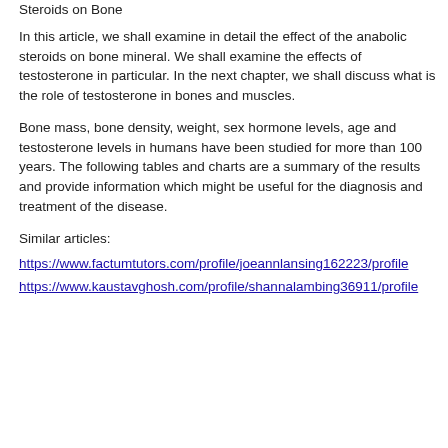Steroids on Bone
In this article, we shall examine in detail the effect of the anabolic steroids on bone mineral. We shall examine the effects of testosterone in particular. In the next chapter, we shall discuss what is the role of testosterone in bones and muscles.
Bone mass, bone density, weight, sex hormone levels, age and testosterone levels in humans have been studied for more than 100 years. The following tables and charts are a summary of the results and provide information which might be useful for the diagnosis and treatment of the disease.
Similar articles:
https://www.factumtutors.com/profile/joeannlansing162223/profile
https://www.kaustavghosh.com/profile/shannalambing36911/profile